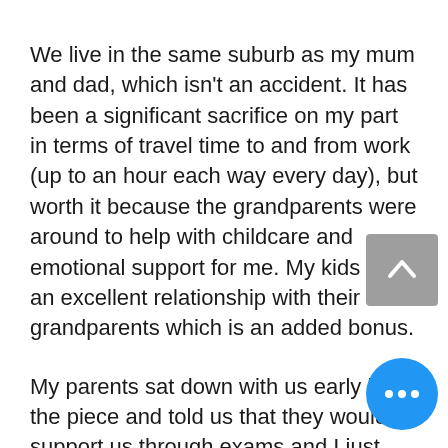We live in the same suburb as my mum and dad, which isn't an accident. It has been a significant sacrifice on my part in terms of travel time to and from work (up to an hour each way every day), but worth it because the grandparents were around to help with childcare and emotional support for me. My kids have an excellent relationship with their grandparents which is an added bonus.
My parents sat down with us early in the piece and told us that they would support us through exams and I just needed to be honest about my needs. They fed me, my husband the kids a couple of times a week,